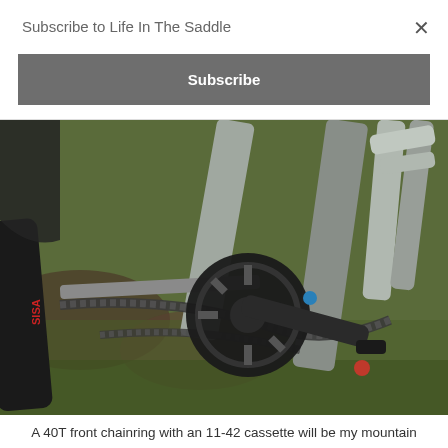Subscribe to Life In The Saddle
×
Subscribe
[Figure (photo): Close-up photo of a bicycle drivetrain showing a 40T front chainring, crank arm, chain, and part of the frame and cassette on a grassy/muddy background.]
A 40T front chainring with an 11-42 cassette will be my mountain gearing